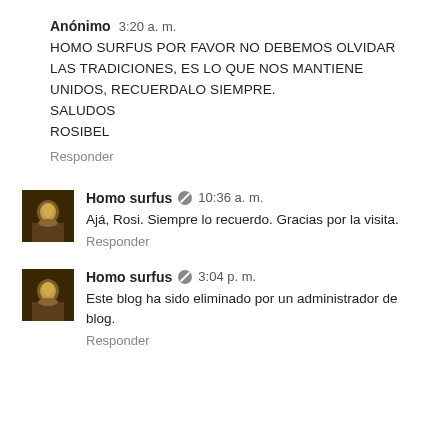Anónimo 3:20 a. m.
HOMO SURFUS POR FAVOR NO DEBEMOS OLVIDAR LAS TRADICIONES, ES LO QUE NOS MANTIENE UNIDOS, RECUERDALO SIEMPRE.
SALUDOS
ROSIBEL
Responder
Homo surfus 10:36 a. m.
Ajá, Rosi. Siempre lo recuerdo. Gracias por la visita.
Responder
Homo surfus 3:04 p. m.
Este blog ha sido eliminado por un administrador de blog.
Responder